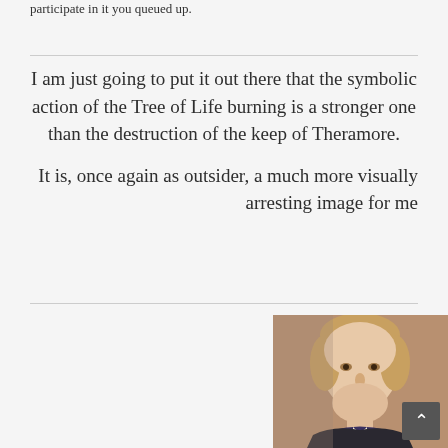participate in it you queued up.
I am just going to put it out there that the symbolic action of the Tree of Life burning is a stronger one than the destruction of the keep of Theramore.

It is, once again as outsider, a much more visually arresting image for me
[Figure (photo): Portrait photograph of a young man with light brown wavy hair, wearing a dark coat, serious expression, resembling a historical figure (Charles Darwin).]